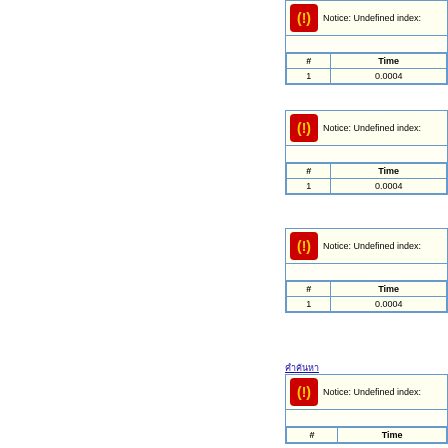Notice: Undefined index:
| # | Time |
| --- | --- |
| 1 | 0.0004 |
Notice: Undefined index:
| # | Time |
| --- | --- |
| 1 | 0.0004 |
Notice: Undefined index:
| # | Time |
| --- | --- |
| 1 | 0.0004 |
คำค้นหา
Notice: Undefined index:
| # | Time |
| --- | --- |